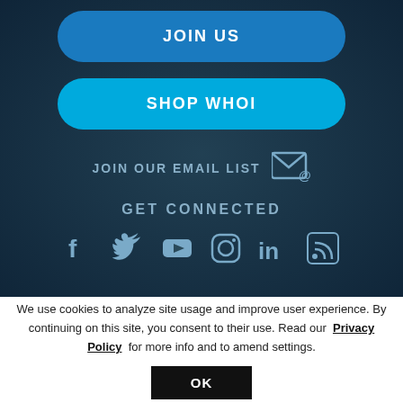JOIN US
SHOP WHOI
JOIN OUR EMAIL LIST
GET CONNECTED
[Figure (illustration): Social media icons: Facebook, Twitter, YouTube, Instagram, LinkedIn, RSS]
©2022 Woods Hole Oceanographic Institution. All Rights Reserved. Privacy Policy | 266 Woods Hole Road, Woods Hole, MA 02543-1050
We use cookies to analyze site usage and improve user experience. By continuing on this site, you consent to their use. Read our Privacy Policy for more info and to amend settings.
OK